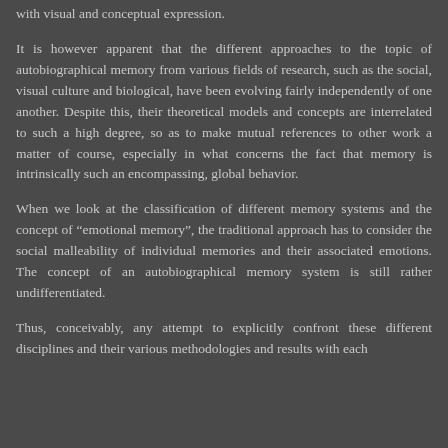with visual and conceptual expression.
It is however apparent that the different approaches to the topic of autobiographical memory from various fields of research, such as the social, visual culture and biological, have been evolving fairly independently of one another. Despite this, their theoretical models and concepts are interrelated to such a high degree, so as to make mutual references to other work a matter of course, especially in what concerns the fact that memory is intrinsically such an encompassing, global behavior.
When we look at the classification of different memory systems and the concept of “emotional memory”, the traditional approach has to consider the social malleability of individual memories and their associated emotions. The concept of an autobiographical memory system is still rather undifferentiated.
Thus, conceivably, any attempt to explicitly confront these different disciplines and their various methodologies and results with each